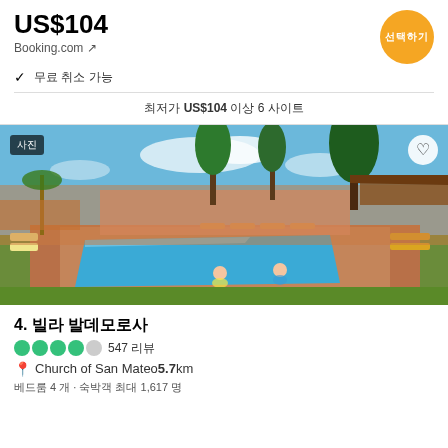US$104
Booking.com ↗
선택하기
✓ 무료 취소 가능
최저가 US$104 이상 6 사이트
[Figure (photo): Hotel outdoor swimming pool with lounge chairs, trees, thatched-roof structure, and guests swimming under a blue sky.]
사진
4. 빌라 발데모로사
●●●●○ 547 리뷰
📍 Church of San Mateo5.7km
베드룸 4 개 · 숙박객 최대 1,617 명